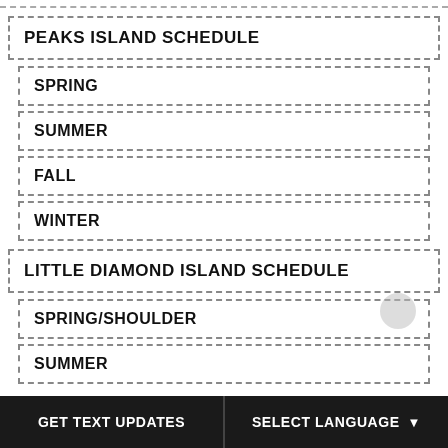PEAKS ISLAND SCHEDULE
SPRING
SUMMER
FALL
WINTER
LITTLE DIAMOND ISLAND SCHEDULE
SPRING/SHOULDER
SUMMER
GET TEXT UPDATES   SELECT LANGUAGE ▼